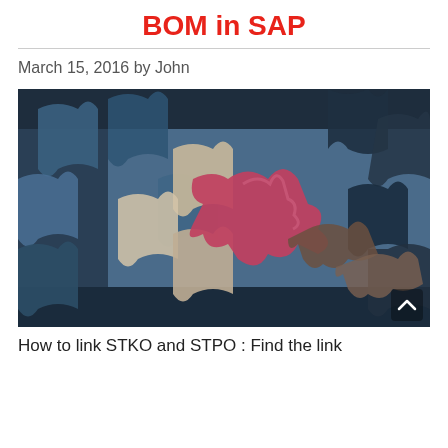BOM in SAP
March 15, 2016 by John
[Figure (photo): Close-up photograph of interlocking puzzle pieces in various colors including blue, pink/red, and beige, with one distinctive pink/red piece in the center focus area.]
How to link STKO and STPO : Find the link